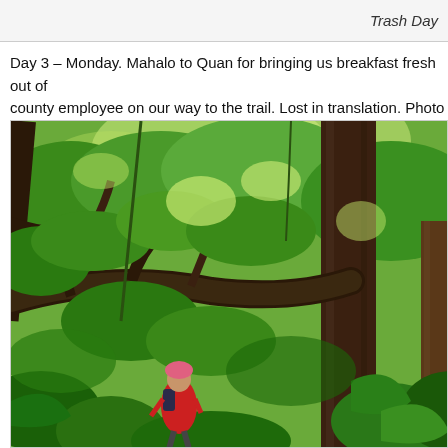Trash Day
Day 3 – Monday. Mahalo to Quan for bringing us breakfast fresh out of county employee on our way to the trail. Lost in translation. Photo by T
[Figure (photo): A person wearing a pink hat and red jacket hiking through a dense tropical jungle with large trees and lush green foliage.]